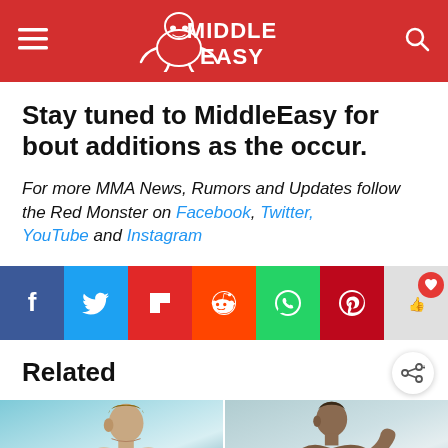MiddleEasy
Stay tuned to MiddleEasy for bout additions as the occur.
For more MMA News, Rumors and Updates follow the Red Monster on Facebook, Twitter, YouTube and Instagram
[Figure (infographic): Social media share buttons row: Facebook (blue), Twitter (light blue), Flipboard (red), Reddit (orange), WhatsApp (green), Pinterest (red), Like button (with heart, red circle badge)]
Related
[Figure (photo): Two side-by-side photos of MMA fighters, left showing a shirtless male fighter, right showing another male fighter]